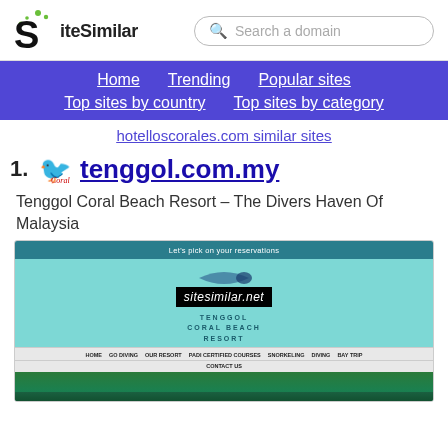SiteSimilar — Search a domain
Home  Trending  Popular sites  Top sites by country  Top sites by category
hotelloscorales.com similar sites
1. tenggol.com.my
Tenggol Coral Beach Resort – The Divers Haven Of Malaysia
[Figure (screenshot): Screenshot of tenggol.com.my showing the Tenggol Coral Beach Resort website with a teal navigation bar, fish logo, overlay watermark 'sitesimilar.net', resort name text, navigation menu items (HOME, GO DIVING, OUR RESORT, PADI CERTIFIED COURSES, SNORKELING, DIVING, BAY TRIP, CONTACT US), and a beach/nature image at the bottom.]